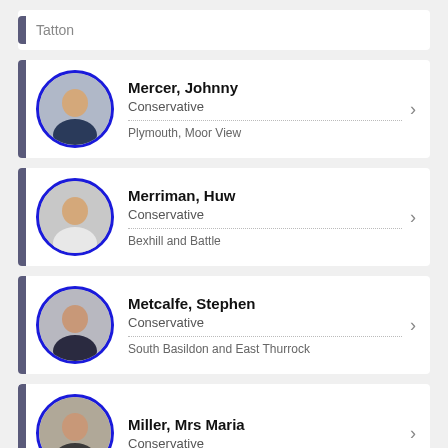Tatton (partial, top)
Mercer, Johnny | Conservative | Plymouth, Moor View
Merriman, Huw | Conservative | Bexhill and Battle
Metcalfe, Stephen | Conservative | South Basildon and East Thurrock
Miller, Mrs Maria | Conservative (partial, bottom)